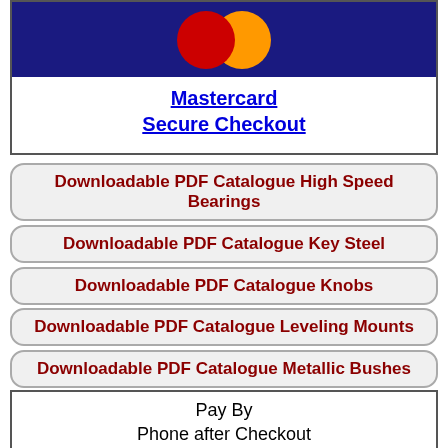[Figure (logo): Mastercard logo with red and yellow overlapping circles on dark blue background]
Mastercard
Secure Checkout
Downloadable PDF Catalogue High Speed Bearings
Downloadable PDF Catalogue Key Steel
Downloadable PDF Catalogue Knobs
Downloadable PDF Catalogue Leveling Mounts
Downloadable PDF Catalogue Metallic Bushes
Downloadable PDF Catalogue O-Rings
Downloadable PDF Catalogue Pins
Downloadable PDF Catalogue Plastic Bearings
Pay By
Phone after Checkout
Payment phone number will be shown on your